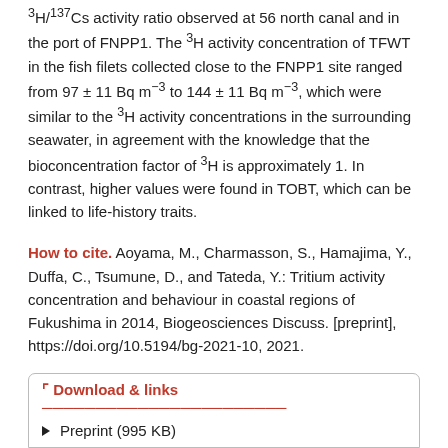3H/137Cs activity ratio observed at 56 north canal and in the port of FNPP1. The 3H activity concentration of TFWT in the fish filets collected close to the FNPP1 site ranged from 97 ± 11 Bq m−3 to 144 ± 11 Bq m−3, which were similar to the 3H activity concentrations in the surrounding seawater, in agreement with the knowledge that the bioconcentration factor of 3H is approximately 1. In contrast, higher values were found in TOBT, which can be linked to life-history traits.
How to cite. Aoyama, M., Charmasson, S., Hamajima, Y., Duffa, C., Tsumune, D., and Tateda, Y.: Tritium activity concentration and behaviour in coastal regions of Fukushima in 2014, Biogeosciences Discuss. [preprint], https://doi.org/10.5194/bg-2021-10, 2021.
Download & links
Preprint (995 KB)